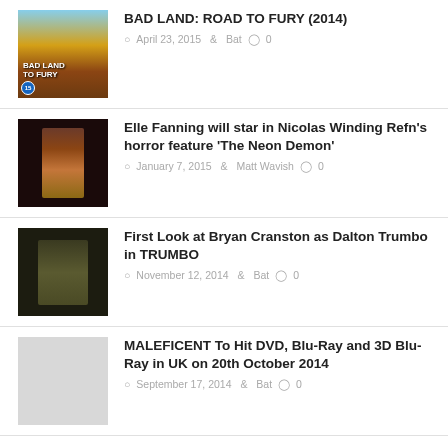[Figure (photo): Movie cover for Bad Land: Road to Fury (2014)]
BAD LAND: ROAD TO FURY (2014)
April 23, 2015  Bat  0
[Figure (photo): Dark still from The Neon Demon featuring a woman]
Elle Fanning will star in Nicolas Winding Refn's horror feature 'The Neon Demon'
January 7, 2015  Matt Wavish  0
[Figure (photo): Bryan Cranston as Dalton Trumbo at a typewriter]
First Look at Bryan Cranston as Dalton Trumbo in TRUMBO
November 12, 2014  Bat  0
[Figure (photo): Placeholder thumbnail for Maleficent article]
MALEFICENT To Hit DVD, Blu-Ray and 3D Blu-Ray in UK on 20th October 2014
September 17, 2014  Bat  0